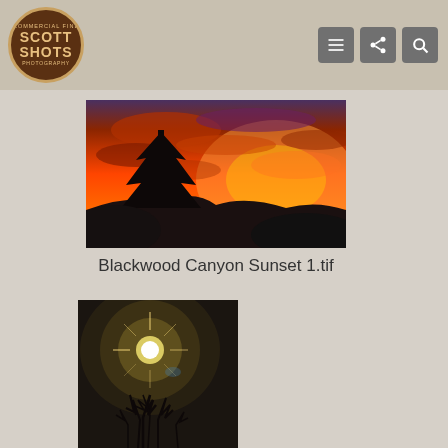Scott Shots Photography
[Figure (photo): Dramatic vivid orange and red sunset sky with silhouetted lone pine tree on a hill]
Blackwood Canyon Sunset 1.tif
[Figure (photo): Dark night sky with bright glowing full moon and lens flare, with silhouetted bare tree branches in the foreground]